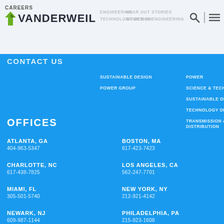CAREERS VANDERWEIL
CONTACT US
SUSTAINABLE DESIGN
POWER GROUP
POWER
SCIENCE & TECHNOLOGY
SUSTAINABLE DESIGN
TECHNOLOGY DESIGN
TRANSMISSION & DISTRIBUTION
OFFICES
ATLANTA, GA
404-963-5347
BOSTON, MA
617-423-7423
CHARLOTTE, NC
617-438-7825
LOS ANGELES, CA
562-247-7701
MIAMI, FL
305-501-5740
NEW YORK, NY
212-921-4142
NEWARK, NJ
609-987-1144
PHILADELPHIA, PA
215-923-1608
PHOENIX, AZ
WASHINGTON, DC